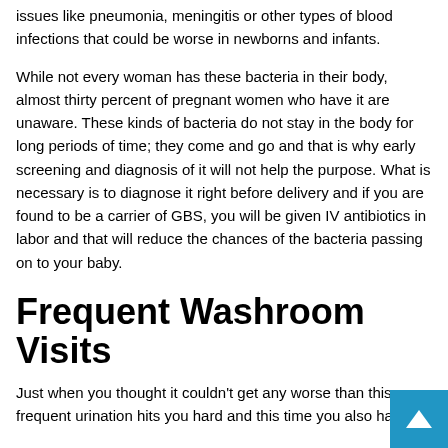issues like pneumonia, meningitis or other types of blood infections that could be worse in newborns and infants.
While not every woman has these bacteria in their body, almost thirty percent of pregnant women who have it are unaware. These kinds of bacteria do not stay in the body for long periods of time; they come and go and that is why early screening and diagnosis of it will not help the purpose. What is necessary is to diagnose it right before delivery and if you are found to be a carrier of GBS, you will be given IV antibiotics in labor and that will reduce the chances of the bacteria passing on to your baby.
Frequent Washroom Visits
Just when you thought it couldn't get any worse than this, frequent urination hits you hard and this time you also have a